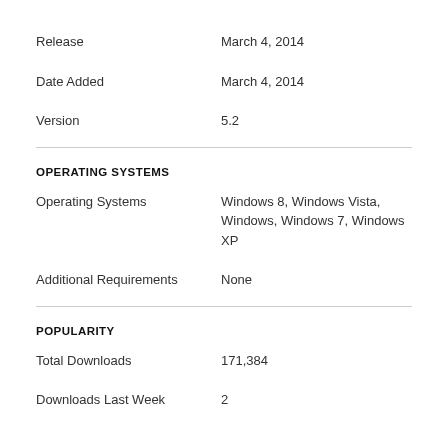| Release | March 4, 2014 |
| Date Added | March 4, 2014 |
| Version | 5.2 |
OPERATING SYSTEMS
| Operating Systems | Windows 8, Windows Vista, Windows, Windows 7, Windows XP |
| Additional Requirements | None |
POPULARITY
| Total Downloads | 171,384 |
| Downloads Last Week | 2 |